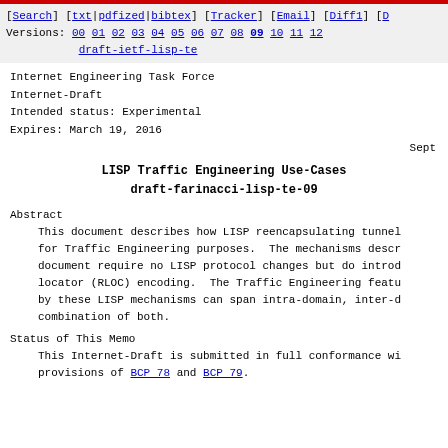[Search] [txt|pdfized|bibtex] [Tracker] [Email] [Diff1] [D Versions: 00 01 02 03 04 05 06 07 08 09 10 11 12 draft-ietf-lisp-te
Internet Engineering Task Force
Internet-Draft
Intended status: Experimental
Expires: March 19, 2016
Sept
LISP Traffic Engineering Use-Cases
draft-farinacci-lisp-te-09
Abstract
This document describes how LISP reencapsulating tunnel for Traffic Engineering purposes. The mechanisms descr document require no LISP protocol changes but do introd locator (RLOC) encoding. The Traffic Engineering featu by these LISP mechanisms can span intra-domain, inter-d combination of both.
Status of This Memo
This Internet-Draft is submitted in full conformance wi provisions of BCP 78 and BCP 79.